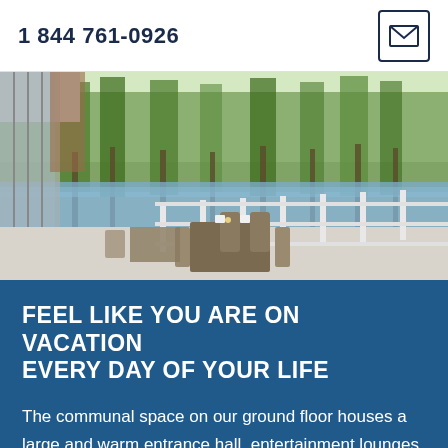1 844 761-0926
[Figure (photo): Outdoor terrace/patio of a modern building with wooden dining tables and chairs, glass railings, overlooking a river or lake with trees in background]
FEEL LIKE YOU ARE ON VACATION EVERY DAY OF YOUR LIFE
The communal space on our ground floor houses a large and warm entrance hall, entertainment lounges, a dining room similar to that of a sizeable